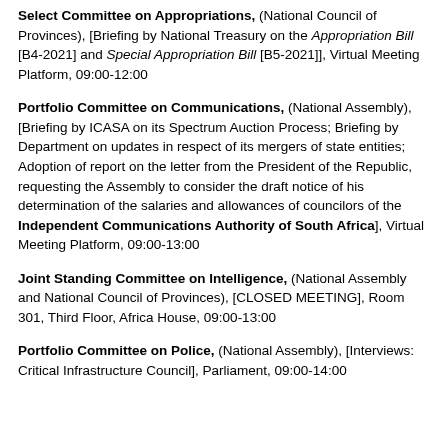Select Committee on Appropriations, (National Council of Provinces), [Briefing by National Treasury on the Appropriation Bill [B4-2021] and Special Appropriation Bill [B5-2021]], Virtual Meeting Platform, 09:00-12:00
Portfolio Committee on Communications, (National Assembly), [Briefing by ICASA on its Spectrum Auction Process; Briefing by Department on updates in respect of its mergers of state entities; Adoption of report on the letter from the President of the Republic, requesting the Assembly to consider the draft notice of his determination of the salaries and allowances of councilors of the Independent Communications Authority of South Africa], Virtual Meeting Platform, 09:00-13:00
Joint Standing Committee on Intelligence, (National Assembly and National Council of Provinces), [CLOSED MEETING], Room 301, Third Floor, Africa House, 09:00-13:00
Portfolio Committee on Police, (National Assembly), [Interviews: Critical Infrastructure Council], Parliament, 09:00-14:00